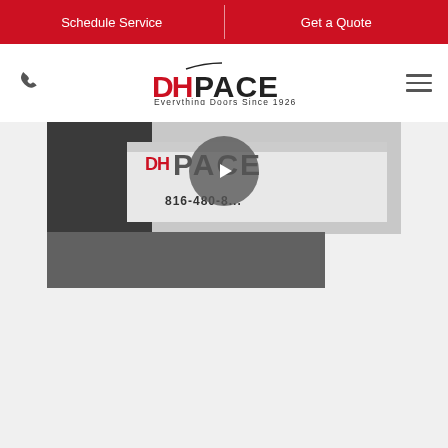Schedule Service | Get a Quote
[Figure (logo): DH PACE logo with phone icon and hamburger menu on white navigation bar]
[Figure (screenshot): Video thumbnail of DH Pace branded van with a play button overlay; lower portion shows dark gray bar]